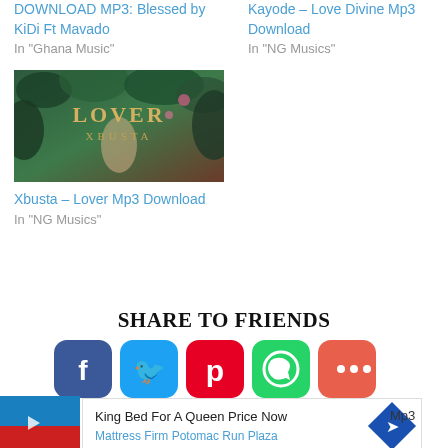DOWNLOAD MP3: Blessed by KiDi Ft Mavado
In "Ghana Music"
Kayode – Love Divine Mp3 Download
In "NG Musics"
[Figure (photo): Album cover for Xbusta – Lover, showing tropical foliage background with text LOVER XBUSTA in golden letters]
Xbusta – Lover Mp3 Download
In "NG Musics"
SHARE TO FRIENDS
[Figure (infographic): Social share buttons: Facebook, Twitter, Pinterest, WhatsApp, More]
King Bed For A Queen Price Now
Mattress Firm Potomac Run Plaza